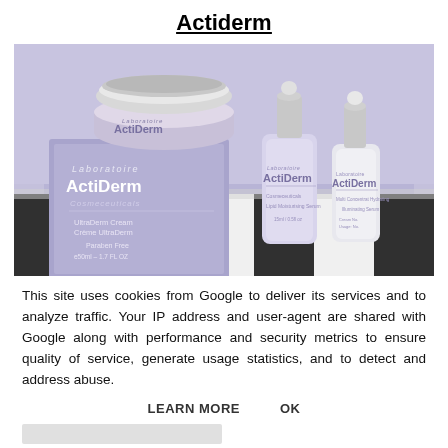Actiderm
[Figure (photo): ActiDerm skincare products including UltraDerm Cream jar with silver lid and purple/lavender box labeled 'Laboratoire ActiDerm Cosmeceuticals UltraDerm Cream / Crème UltraDerm, Paraben Free, e50ml – 1.7 FL OZ', and two dropper serum bottles with silver droppers, all displayed on a black and white striped surface with a purple/lavender background]
This site uses cookies from Google to deliver its services and to analyze traffic. Your IP address and user-agent are shared with Google along with performance and security metrics to ensure quality of service, generate usage statistics, and to detect and address abuse.
LEARN MORE    OK